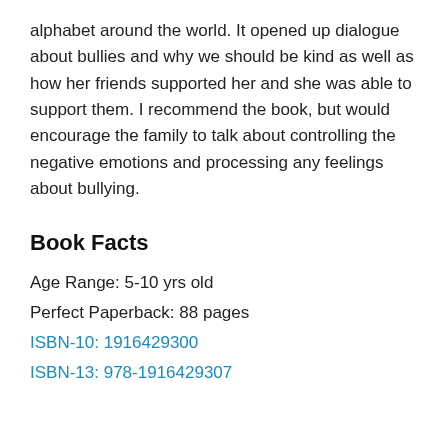alphabet around the world. It opened up dialogue about bullies and why we should be kind as well as how her friends supported her and she was able to support them. I recommend the book, but would encourage the family to talk about controlling the negative emotions and processing any feelings about bullying.
Book Facts
Age Range: 5-10 yrs old
Perfect Paperback: 88 pages
ISBN-10: 1916429300
ISBN-13: 978-1916429307